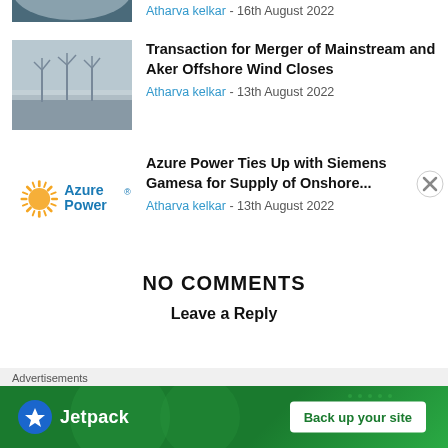[Figure (photo): Partial view of a dark seascape/landscape image (cropped at top)]
Atharva kelkar - 16th August 2022
[Figure (photo): Offshore wind turbines in misty grey sea]
Transaction for Merger of Mainstream and Aker Offshore Wind Closes
Atharva kelkar - 13th August 2022
[Figure (logo): Azure Power logo with sun icon]
Azure Power Ties Up with Siemens Gamesa for Supply of Onshore...
Atharva kelkar - 13th August 2022
NO COMMENTS
Leave a Reply
Advertisements
[Figure (screenshot): Jetpack advertisement banner with 'Back up your site' button on green background]